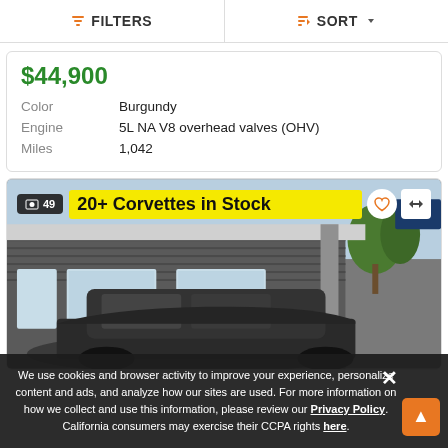FILTERS   SORT
$44,900
| Color | Burgundy |
| Engine | 5L NA V8 overhead valves (OHV) |
| Miles | 1,042 |
[Figure (photo): Dealer photo showing a car dealership building exterior with a car in foreground. Banner overlay reads '20+ Corvettes in Stock'. Photo count badge shows 49.]
We use cookies and browser activity to improve your experience, personalize content and ads, and analyze how our sites are used. For more information on how we collect and use this information, please review our Privacy Policy. California consumers may exercise their CCPA rights here.